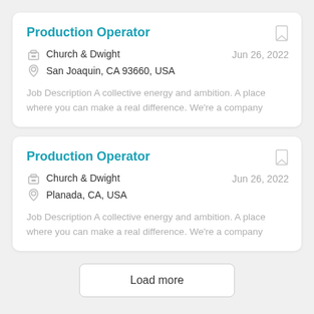Production Operator
Church & Dwight
San Joaquin, CA 93660, USA
Jun 26, 2022
Job Description A collective energy and ambition. A place where you can make a real difference. We're a company
Production Operator
Church & Dwight
Planada, CA, USA
Jun 26, 2022
Job Description A collective energy and ambition. A place where you can make a real difference. We're a company
Load more